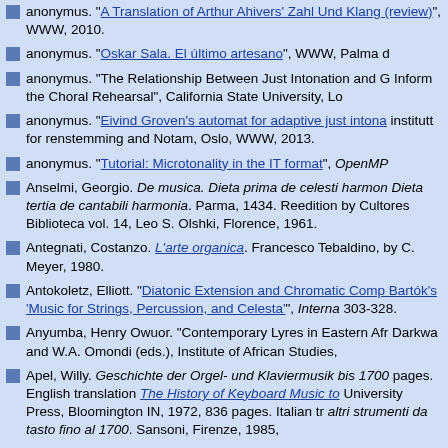anonymus. "A Translation of Arthur Ahivers' Zahl Und Klang (review)", WWW, 2010.
anonymus. "Oskar Sala. El último artesano", WWW, Palma de...
anonymus. "The Relationship Between Just Intonation and G... Inform the Choral Rehearsal", California State University, Los...
anonymus. "Eivind Groven's automat for adaptive just intonation" institutt for renstemming and Notam, Oslo, WWW, 2013.
anonymus. "Tutorial: Microtonality in the IT format", OpenMP...
Anselmi, Georgio. De musica. Dieta prima de celesti harmoni... Dieta tertia de cantabili harmonia. Parma, 1434. Reedition by... Cultores Biblioteca vol. 14, Leo S. Olshki, Florence, 1961.
Antegnati, Costanzo. L'arte organica. Francesco Tebaldino, ... by C. Meyer, 1980.
Antokoletz, Elliott. "Diatonic Extension and Chromatic Compression in Bartók's 'Music for Strings, Percussion, and Celesta'", Interna... 303-328.
Anyumba, Henry Owuor. "Contemporary Lyres in Eastern Afr... Darkwa and W.A. Omondi (eds.), Institute of African Studies,...
Apel, Willy. Geschichte der Orgel- und Klaviermusik bis 1700 pages. English translation The History of Keyboard Music to... University Press, Bloomington IN, 1972, 836 pages. Italian tr... altri strumenti da tasto fino al 1700. Sansoni, Firenze, 1985,...
Appenheimer, John. "Small Number Ratios and Harmonicity" 1987, pp. 9-10.